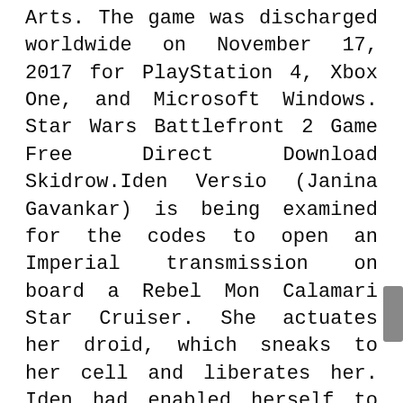Arts. The game was discharged worldwide on November 17, 2017 for PlayStation 4, Xbox One, and Microsoft Windows. Star Wars Battlefront 2 Game Free Direct Download Skidrow.Iden Versio (Janina Gavankar) is being examined for the codes to open an Imperial transmission on board a Rebel Mon Calamari Star Cruiser. She actuates her droid, which sneaks to her cell and liberates her. Iden had enabled herself to be caught to delete the Imperial transmission, which would uncover the Emperor's arrangement at Endor. Star Wars Battlefront 2 v1.1 Full Game Torrent download.Later on Endor, Iden, Hask, and Meeko secure the edge around the demolished shield generator, and watch with stun and